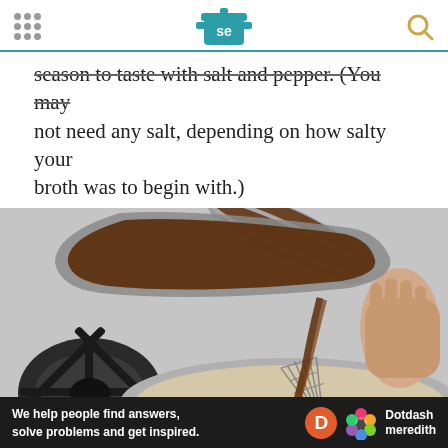Serious Eats logo and navigation
season to taste with salt and pepper. (You may not need any salt, depending on how salty your broth was to begin with.)
[Figure (photo): A person pouring dark brown gravy from a saucepan into another pan on a gas stove burner, while whisking with a metal whisk. The scene is on a kitchen stovetop.]
Ad
We help people find answers, solve problems and get inspired. Dotdash meredith